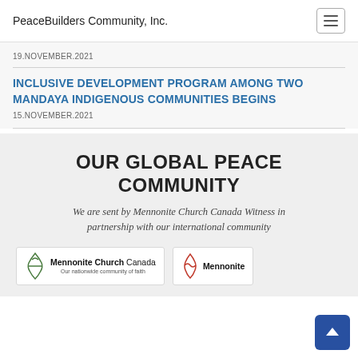PeaceBuilders Community, Inc.
19.NOVEMBER.2021
INCLUSIVE DEVELOPMENT PROGRAM AMONG TWO MANDAYA INDIGENOUS COMMUNITIES BEGINS
15.NOVEMBER.2021
OUR GLOBAL PEACE COMMUNITY
We are sent by Mennonite Church Canada Witness in partnership with our international community
[Figure (logo): Mennonite Church Canada logo with text 'Mennonite Church Canada - Our nationwide community of faith' and a stylized figure icon in green]
[Figure (logo): Mennonite logo with a stylized red figure icon and text 'Mennonite']